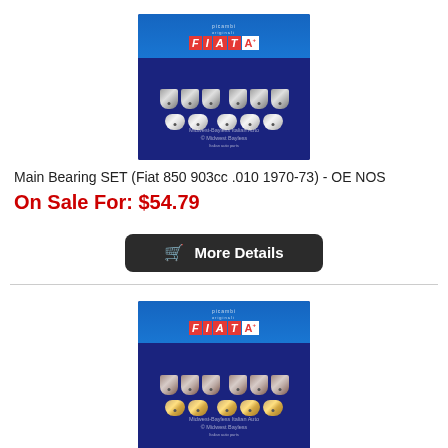[Figure (photo): Photo of Main Bearing SET for Fiat 850 903cc, showing silver bearing pieces arranged in two rows in front of a blue FIAT branded box, with Midwest-Bayless Italian Auto watermark]
Main Bearing SET (Fiat 850 903cc .010 1970-73) - OE NOS
On Sale For: $54.79
[Figure (other): Button labeled 'More Details' with shopping cart icon, dark background]
[Figure (photo): Second photo of Main Bearing SET for Fiat 850 903cc, showing gold/bronze bearing pieces in front of a blue FIAT branded box, with Midwest-Bayless Italian Auto watermark]